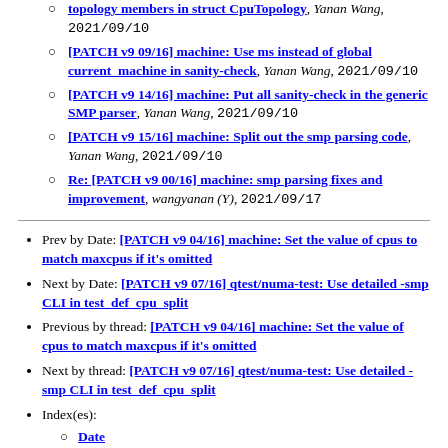[PATCH v9 09/16] machine: Use ms instead of global current_machine in sanity-check, Yanan Wang, 2021/09/10
[PATCH v9 14/16] machine: Put all sanity-check in the generic SMP parser, Yanan Wang, 2021/09/10
[PATCH v9 15/16] machine: Split out the smp parsing code, Yanan Wang, 2021/09/10
Re: [PATCH v9 00/16] machine: smp parsing fixes and improvement, wangyanan (Y), 2021/09/17
Prev by Date: [PATCH v9 04/16] machine: Set the value of cpus to match maxcpus if it's omitted
Next by Date: [PATCH v9 07/16] qtest/numa-test: Use detailed -smp CLI in test_def_cpu_split
Previous by thread: [PATCH v9 04/16] machine: Set the value of cpus to match maxcpus if it's omitted
Next by thread: [PATCH v9 07/16] qtest/numa-test: Use detailed -smp CLI in test_def_cpu_split
Index(es):
Date
Thread